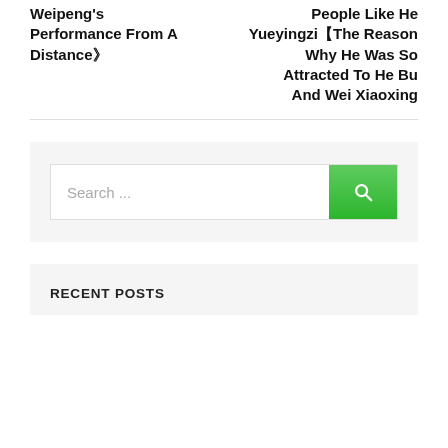Weipeng S Performance From A Distance》
People Like He Yueyingzi【The Reason Why He Was So Attracted To He Bu And Wei Xiaoxing
[Figure (other): Search bar with green search button and magnifying glass icon]
RECENT POSTS